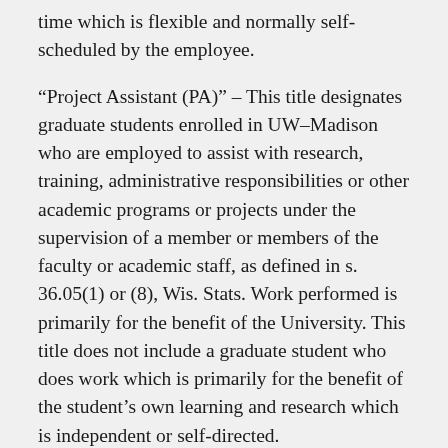time which is flexible and normally self-scheduled by the employee.
“Project Assistant (PA)” – This title designates graduate students enrolled in UW–Madison who are employed to assist with research, training, administrative responsibilities or other academic programs or projects under the supervision of a member or members of the faculty or academic staff, as defined in s. 36.05(1) or (8), Wis. Stats. Work performed is primarily for the benefit of the University. This title does not include a graduate student who does work which is primarily for the benefit of the student’s own learning and research which is independent or self-directed.